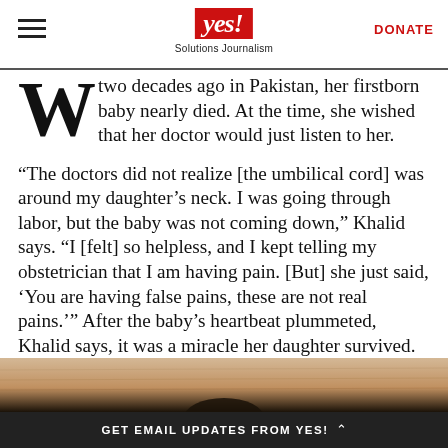yes! Solutions Journalism | DONATE
W two decades ago in Pakistan, her firstborn baby nearly died. At the time, she wished that her doctor would just listen to her.
“The doctors did not realize [the umbilical cord] was around my daughter’s neck. I was going through labor, but the baby was not coming down,” Khalid says. “I [felt] so helpless, and I kept telling my obstetrician that I am having pain. [But] she just said, ‘You are having false pains, these are not real pains.’” After the baby’s heartbeat plummeted, Khalid says, it was a miracle her daughter survived.
[Figure (photo): Partial view of a wooden surface or floor, with a dark figure silhouette at the bottom edge]
GET EMAIL UPDATES FROM YES!